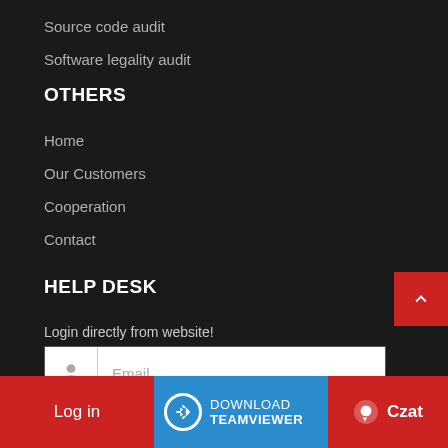Source code audit
Software legality audit
OTHERS
Home
Our Customers
Cooperation
Contact
HELP DESK
Login directly from website!
[Figure (screenshot): Email input field with user icon and placeholder text 'Email']
[Figure (screenshot): Password input field with lock icon and placeholder text 'Password']
Log in | DOWNLOAD TEAMVIEWER | Czat